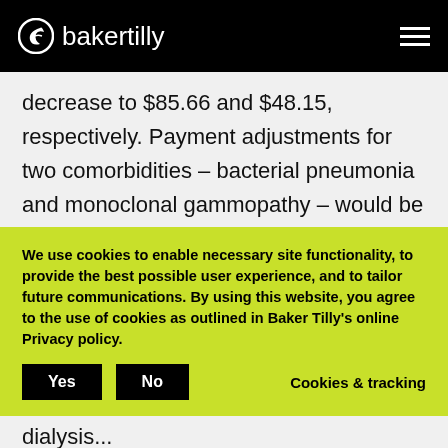bakertilly
decrease to $85.66 and $48.15, respectively. Payment adjustments for two comorbidities – bacterial pneumonia and monoclonal gammopathy – would be eliminated. Substantial changes would be made to the low-volume payment adjustment, including removing grandfathering from the criteria and excluding
We use cookies to enable necessary site functionality, to provide the best possible user experience, and to tailor future communications. By using this website, you agree to the use of cookies as outlined in Baker Tilly's online Privacy policy.
Yes   No   Cookies & tracking
dialysis...CMS